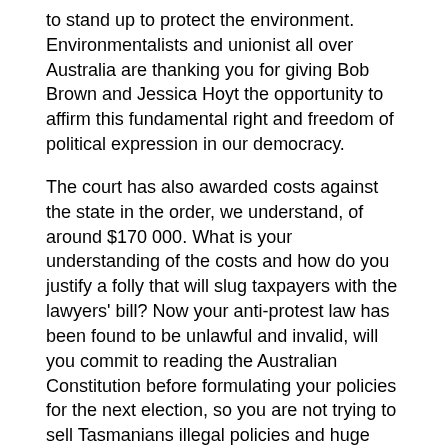to stand up to protect the environment. Environmentalists and unionist all over Australia are thanking you for giving Bob Brown and Jessica Hoyt the opportunity to affirm this fundamental right and freedom of political expression in our democracy.
The court has also awarded costs against the state in the order, we understand, of around $170 000. What is your understanding of the costs and how do you justify a folly that will slug taxpayers with the lawyers' bill? Now your anti-protest law has been found to be unlawful and invalid, will you commit to reading the Australian Constitution before formulating your policies for the next election, so you are not trying to sell Tasmanians illegal policies and huge lawyers costs?
ANSWER
Mr Speaker, I thank the member for the question. I note the cheer squad and the Labor Party who are probably